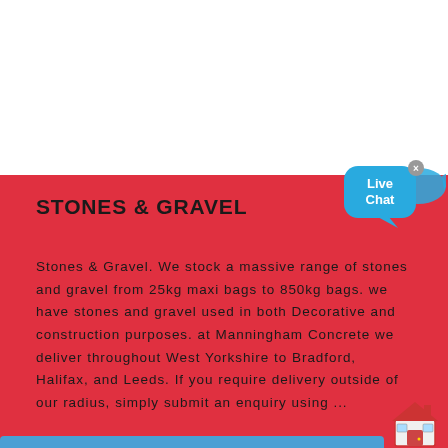STONES & GRAVEL
Stones & Gravel. We stock a massive range of stones and gravel from 25kg maxi bags to 850kg bags. we have stones and gravel used in both Decorative and construction purposes. at Manningham Concrete we deliver throughout West Yorkshire to Bradford, Halifax, and Leeds. If you require delivery outside of our radius, simply submit an enquiry using ...
[Figure (illustration): Live Chat speech bubble widget with blue background and white text reading 'Live Chat', with close X button and fish/rocket shape extending right]
[Figure (illustration): Red house/building emoji icon in bottom right corner]